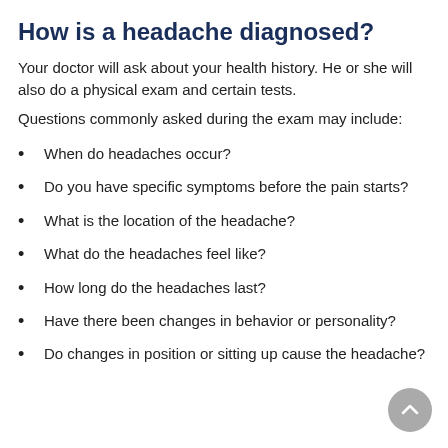How is a headache diagnosed?
Your doctor will ask about your health history. He or she will also do a physical exam and certain tests.
Questions commonly asked during the exam may include:
When do headaches occur?
Do you have specific symptoms before the pain starts?
What is the location of the headache?
What do the headaches feel like?
How long do the headaches last?
Have there been changes in behavior or personality?
Do changes in position or sitting up cause the headache?